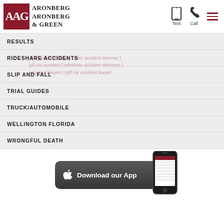[Figure (logo): Aronberg Aronberg & Green law firm logo with AAG letters in dark red box and firm name text]
RESULTS
RIDESHARE ACCIDENTS
SLIP AND FALL
TRIAL GUIDES
TRUCK/AUTOMOBILE
WELLINGTON FLORIDA
WRONGFUL DEATH
[Figure (screenshot): Download our App banner with Apple logo icon and phone image on dark background]